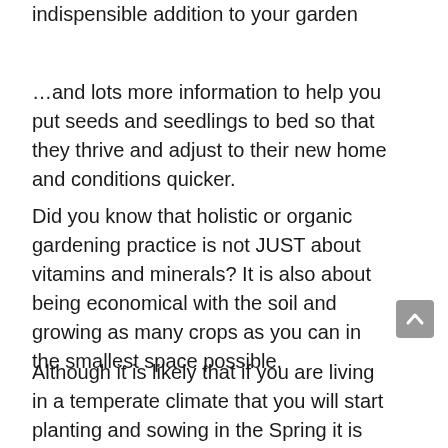indispensible addition to your garden
…and lots more information to help you put seeds and seedlings to bed so that they thrive and adjust to their new home and conditions quicker.
Did you know that holistic or organic gardening practice is not JUST about vitamins and minerals? It is also about being economical with the soil and growing as many crops as you can in the smallest space possible.
Although it is likely that if you are living in a temperate climate that you will start planting and sowing in the Spring it is not the only time you will be planting. This is because it is possible to plant…